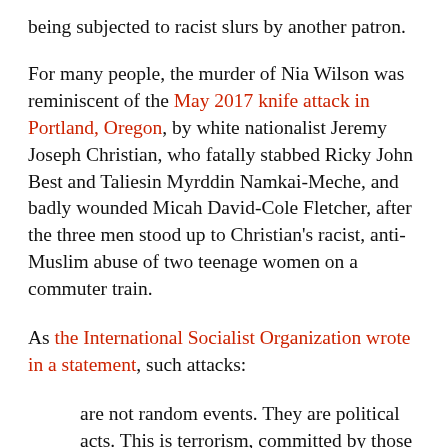being subjected to racist slurs by another patron.
For many people, the murder of Nia Wilson was reminiscent of the May 2017 knife attack in Portland, Oregon, by white nationalist Jeremy Joseph Christian, who fatally stabbed Ricky John Best and Taliesin Myrddin Namkai-Meche, and badly wounded Micah David-Cole Fletcher, after the three men stood up to Christian's racist, anti-Muslim abuse of two teenage women on a commuter train.
As the International Socialist Organization wrote in a statement, such attacks:
are not random events. They are political acts. This is terrorism, committed by those who feel confident to act on their racist and reactionary views...At a time when the president of the United States calls for banning Muslims from entering the U.S., while gutting civil rights protections and deporting immigrants en masse